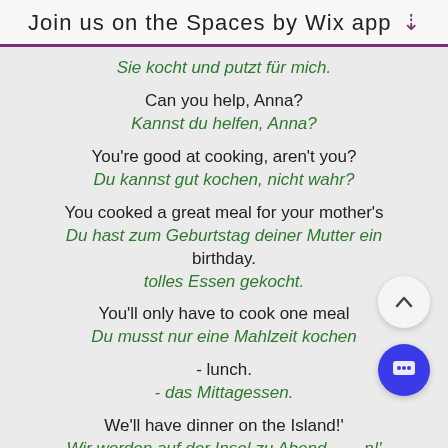Join us on the Spaces by Wix app
Sie kocht und putzt für mich.
Can you help, Anna? / Kannst du helfen, Anna?
You're good at cooking, aren't you? / Du kannst gut kochen, nicht wahr?
You cooked a great meal for your mother's birthday. / Du hast zum Geburtstag deiner Mutter ein tolles Essen gekocht.
You'll only have to cook one meal / Du musst nur eine Mahlzeit kochen
- lunch. / - das Mittagessen.
We'll have dinner on the Island!' / Wir werden auf der Insel zu Abend ...n!'
'Yes!' said Anna. / 'Ja!' sagte Anna.
'Well, I'll have to ask Mum, but y... / 'Nun, ich muss Mama fragen, aber...